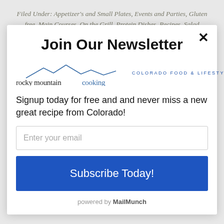Filed Under: Appetizer's and Small Plates, Events and Parties, Gluten free, Main Courses, On the Grill, Protein Dishes, Recipes, Salad Dressings, Salads and Salad
Join Our Newsletter
[Figure (logo): Rocky Mountain Cooking logo with mountain silhouette and tagline COLORADO FOOD & LIFESTYLE]
Signup today for free and and never miss a new great recipe from Colorado!
Enter your email
Subscribe Today!
powered by MailMunch